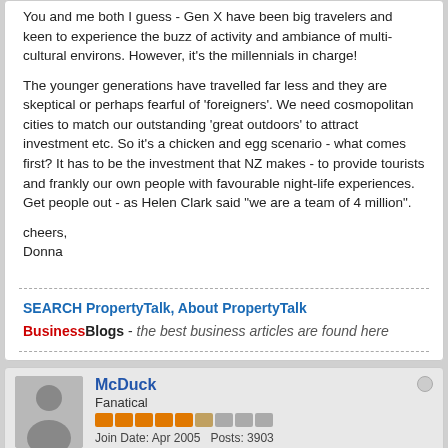You and me both I guess - Gen X have been big travelers and keen to experience the buzz of activity and ambiance of multi-cultural environs. However, it's the millennials in charge!
The younger generations have travelled far less and they are skeptical or perhaps fearful of 'foreigners'. We need cosmopolitan cities to match our outstanding 'great outdoors' to attract investment etc. So it's a chicken and egg scenario - what comes first? It has to be the investment that NZ makes - to provide tourists and frankly our own people with favourable night-life experiences. Get people out - as Helen Clark said "we are a team of 4 million".
cheers,
Donna
SEARCH PropertyTalk, About PropertyTalk
BusinessBlogs - the best business articles are found here
McDuck
Fanatical
Join Date: Apr 2005   Posts: 3903